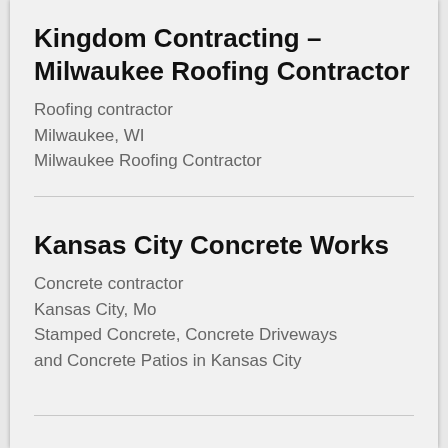Kingdom Contracting – Milwaukee Roofing Contractor
Roofing contractor
Milwaukee, WI
Milwaukee Roofing Contractor
Kansas City Concrete Works
Concrete contractor
Kansas City, Mo
Stamped Concrete, Concrete Driveways and Concrete Patios in Kansas City
Provision Law Firm